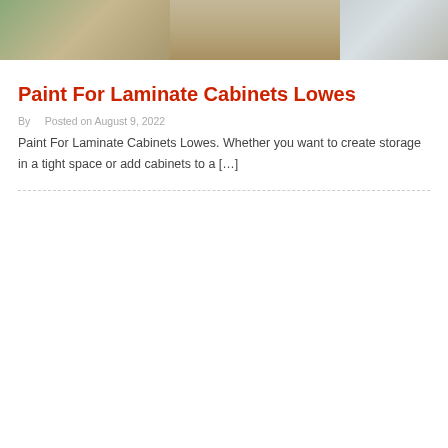[Figure (photo): Photo of laminate cabinets and storage boxes in a room, showing moving boxes on the left and hanging clothing/wardrobe on the right.]
Paint For Laminate Cabinets Lowes
By  Posted on August 9, 2022
Paint For Laminate Cabinets Lowes. Whether you want to create storage in a tight space or add cabinets to a […]